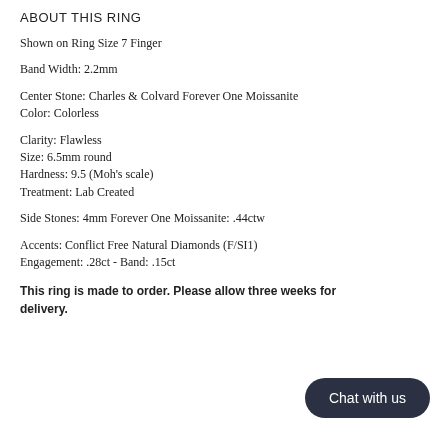ABOUT THIS RING
Shown on Ring Size 7 Finger
Band Width: 2.2mm
Center Stone: Charles & Colvard Forever One Moissanite
Color: Colorless
Clarity: Flawless
Size: 6.5mm round
Hardness: 9.5 (Moh's scale)
Treatment: Lab Created
Side Stones: 4mm Forever One Moissanite: .44ctw
Accents: Conflict Free Natural Diamonds (F/SI1)
Engagement: .28ct - Band: .15ct
This ring is made to order.  Please allow three weeks for delivery.